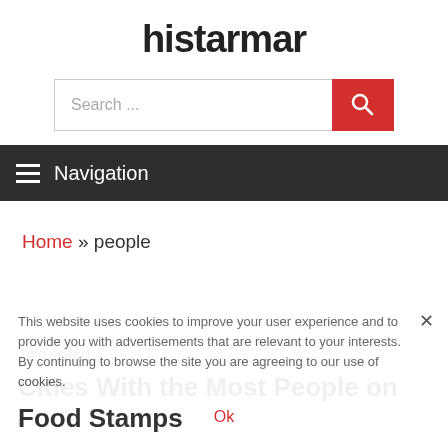histarmar
[Figure (other): Search bar with text input 'Search ...' and red search button with magnifying glass icon]
Navigation
Home » people
This website uses cookies to improve your user experience and to provide you with advertisements that are relevant to your interests. By continuing to browse the site you are agreeing to our use of cookies.
08/16/2021
Cities With the Most People on Food Stamps